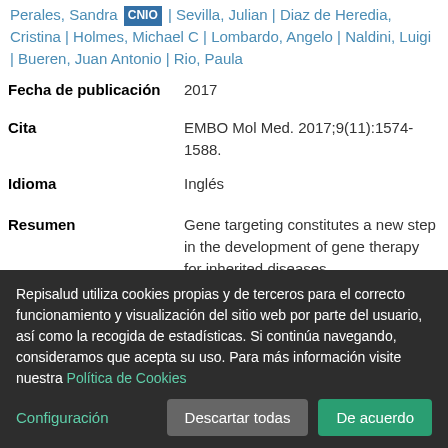Perales, Sandra CNIO | Sevilla, Julian | Diaz de Heredia, Cristina | Holmes, Michael C | Lombardo, Angelo | Naldini, Luigi | Bueren, Juan Antonio | Rio, Paula
| Fecha de publicación | 2017 |
| Cita | EMBO Mol Med. 2017;9(11):1574-1588. |
| Idioma | Inglés |
| Resumen | Gene targeting constitutes a new step in the development of gene therapy for inherited diseases |
Repisalud utiliza cookies propias y de terceros para el correcto funcionamiento y visualización del sitio web por parte del usuario, así como la recogida de estadísticas. Si continúa navegando, consideramos que acepta su uso. Para más información visite nuestra Política de Cookies